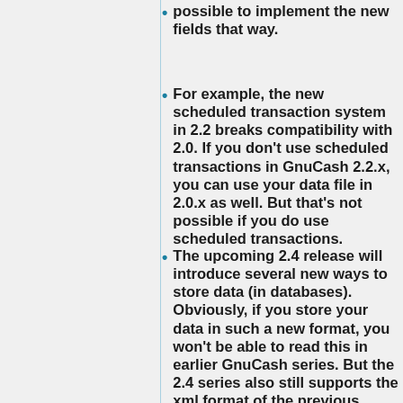possible to implement the new fields that way.
For example, the new scheduled transaction system in 2.2 breaks compatibility with 2.0. If you don't use scheduled transactions in GnuCash 2.2.x, you can use your data file in 2.0.x as well. But that's not possible if you do use scheduled transactions.
The upcoming 2.4 release will introduce several new ways to store data (in databases). Obviously, if you store your data in such a new format, you won't be able to read this in earlier GnuCash series. But the 2.4 series also still supports the xml format of the previous